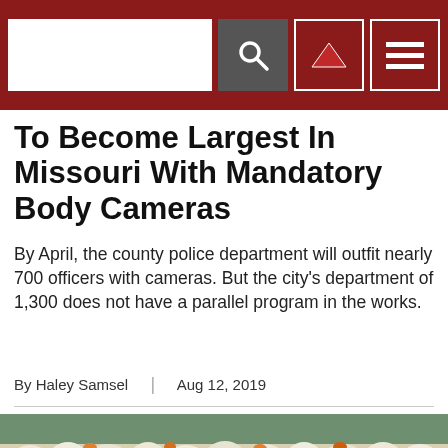[Search bar and navigation icons]
To Become Largest In Missouri With Mandatory Body Cameras
By April, the county police department will outfit nearly 700 officers with cameras. But the city's department of 1,300 does not have a parallel program in the works.
By Haley Samsel | Aug 12, 2019
[Figure (photo): Photo of garlic bulbs displayed at what appears to be the Gilroy Garlic Festival, with a metallic sign bearing the Gilroy logo (a running figure) visible in the foreground.]
0 Shares [social share buttons: SMS, WhatsApp, Email, Facebook, Twitter, Crown/other]